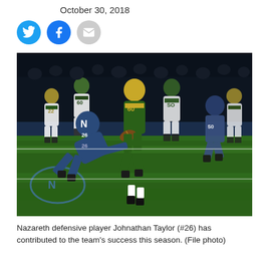October 30, 2018
[Figure (other): Social media sharing icons: Twitter (blue bird), Facebook (blue f), Email (grey envelope)]
[Figure (photo): Night football game photograph showing Nazareth defensive player Johnathan Taylor (#26) in a dark blue uniform tackling a ball carrier in gold/green uniform, with several other players running in the background on a green turf field.]
Nazareth defensive player Johnathan Taylor (#26) has contributed to the team's success this season. (File photo)